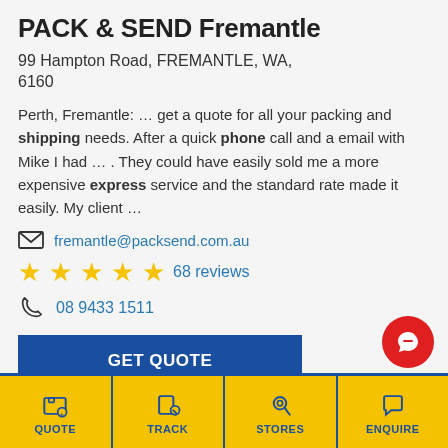PACK & SEND Fremantle
99 Hampton Road, FREMANTLE, WA, 6160
Perth, Fremantle: … get a quote for all your packing and shipping needs. After a quick phone call and a email with Mike I had … . They could have easily sold me a more expensive express service and the standard rate made it easily. My client …
fremantle@packsend.com.au
68 reviews
08 9433 1511
GET QUOTE
VIEW DETAILS
QUOTE  TRACK  STORES  ENQUIRE